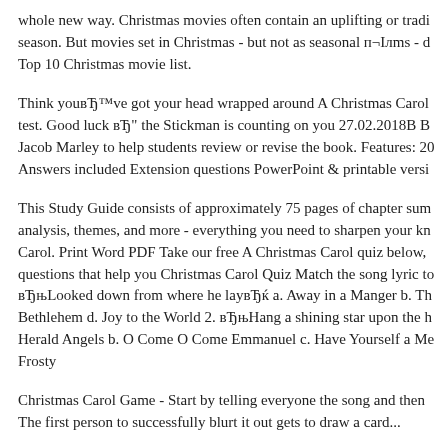whole new way. Christmas movies often contain an uplifting or tradi season. But movies set in Christmas - but not as seasonal п¬Ілms - d Top 10 Christmas movie list.
Think youвЂ™ve got your head wrapped around A Christmas Carol test. Good luck вЂ" the Stickman is counting on you 27.02.2018В В Jacob Marley to help students review or revise the book. Features: 20 Answers included Extension questions PowerPoint & printable versi
This Study Guide consists of approximately 75 pages of chapter sum analysis, themes, and more - everything you need to sharpen your kn Carol. Print Word PDF Take our free A Christmas Carol quiz below, questions that help you Christmas Carol Quiz Match the song lyric to вЂњLooked down from where he layвЂќ a. Away in a Manger b. Th Bethlehem d. Joy to the World 2. вЂњHang a shining star upon the h Herald Angels b. O Come O Come Emmanuel c. Have Yourself a Me Frosty
Christmas Carol Game - Start by telling everyone the song and then The first person to successfully blurt it out gets to draw a card...